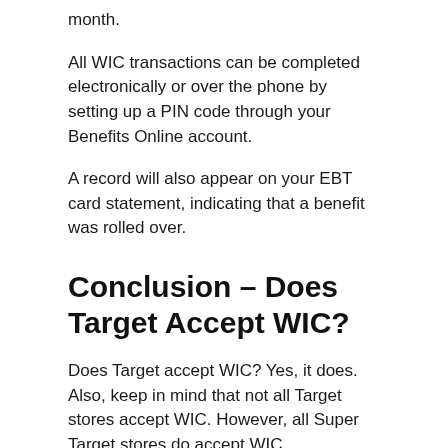month.
All WIC transactions can be completed electronically or over the phone by setting up a PIN code through your Benefits Online account.
A record will also appear on your EBT card statement, indicating that a benefit was rolled over.
Conclusion – Does Target Accept WIC?
Does Target accept WIC? Yes, it does. Also, keep in mind that not all Target stores accept WIC. However, all Super Target stores do accept WIC.